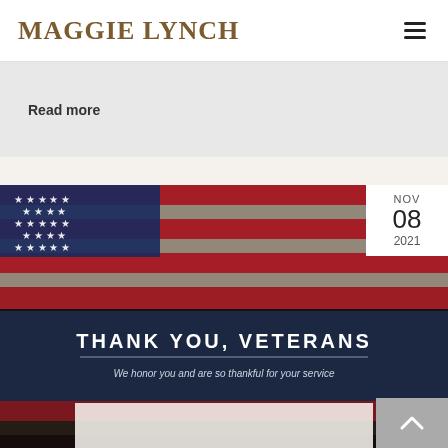Maggie Lynch
Read more
[Figure (photo): American flag background with 'THANK YOU, VETERANS — We honor you and are so thankful for your service' text overlay on a dark navy banner. Date badge shows NOV 08 2021 in upper right corner.]